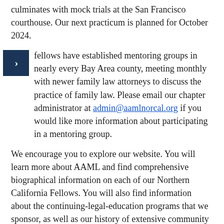culminates with mock trials at the San Francisco courthouse. Our next practicum is planned for October 2024.
fellows have established mentoring groups in nearly every Bay Area county, meeting monthly with newer family law attorneys to discuss the practice of family law. Please email our chapter administrator at admin@aamlnorcal.org if you would like more information about participating in a mentoring group.
We encourage you to explore our website. You will learn more about AAML and find comprehensive biographical information on each of our Northern California Fellows. You will also find information about the continuing-legal-education programs that we sponsor, as well as our history of extensive community outreach and charitable contributions.
Thank you for giving us the chance to introduce you to the Northern California Chapter of the American Academy of Matrimonial Lawyers. It is our privilege to be at your service.
Regards,